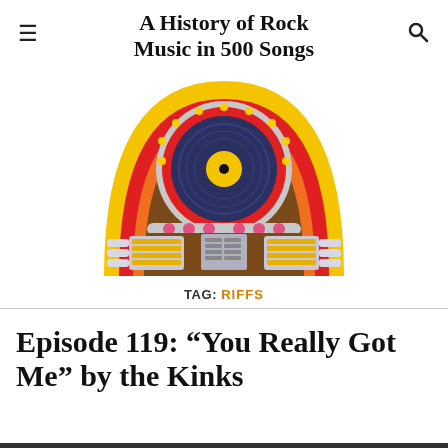A History of Rock Music in 500 Songs
[Figure (illustration): Colorful jukebox illustration with yellow, red, and orange arches, a dark vinyl record display at top, pink buttons, and silver/gold selector panels at bottom]
TAG: RIFFS
Episode 119: “You Really Got Me” by the Kinks